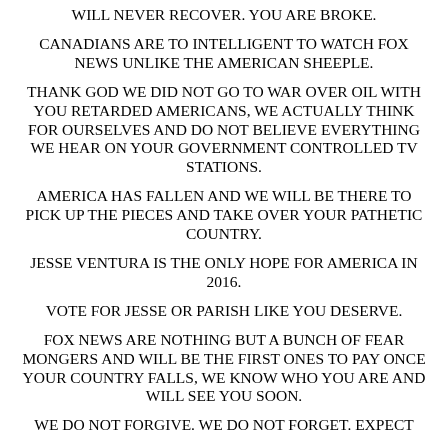WILL NEVER RECOVER. YOU ARE BROKE.
CANADIANS ARE TO INTELLIGENT TO WATCH FOX NEWS UNLIKE THE AMERICAN SHEEPLE.
THANK GOD WE DID NOT GO TO WAR OVER OIL WITH YOU RETARDED AMERICANS, WE ACTUALLY THINK FOR OURSELVES AND DO NOT BELIEVE EVERYTHING WE HEAR ON YOUR GOVERNMENT CONTROLLED TV STATIONS.
AMERICA HAS FALLEN AND WE WILL BE THERE TO PICK UP THE PIECES AND TAKE OVER YOUR PATHETIC COUNTRY.
JESSE VENTURA IS THE ONLY HOPE FOR AMERICA IN 2016.
VOTE FOR JESSE OR PARISH LIKE YOU DESERVE.
FOX NEWS ARE NOTHING BUT A BUNCH OF FEAR MONGERS AND WILL BE THE FIRST ONES TO PAY ONCE YOUR COUNTRY FALLS, WE KNOW WHO YOU ARE AND WILL SEE YOU SOON.
WE DO NOT FORGIVE. WE DO NOT FORGET. EXPECT